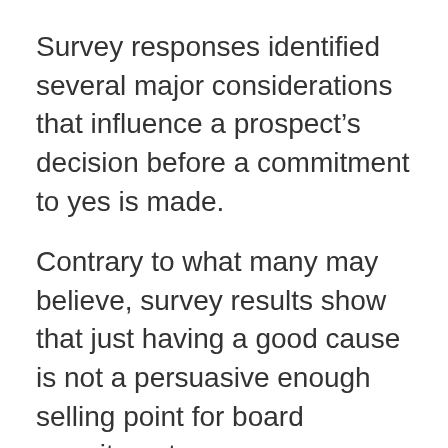Survey responses identified several major considerations that influence a prospect's decision before a commitment to yes is made.
Contrary to what many may believe, survey results show that just having a good cause is not a persuasive enough selling point for board recruitment.
The strongest factor that encourages a favorable response is a meaningful connection with the cause or organization that is both personal and professional. Prospects want to evaluate whether or not